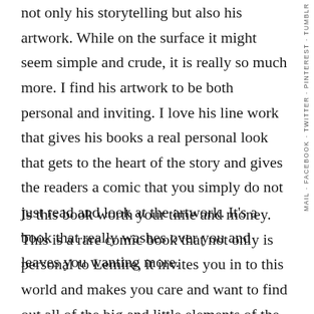not only his storytelling but also his artwork. While on the surface it might seem simple and crude, it is really so much more. I find his artwork to be both personal and inviting. I love his line work that gives his books a real personal look that gets to the heart of the story and gives the readers a comic that you simply do not just read and look at the artwork. It's a book that really washes over you and leaves you wanting more.
Is this book worth your time and money. This is a rare comic book that not only is personal to Lemire, it invites you in to this world and makes you care and want to find out all of the big and little elements of the small town or Royal City. Sure a lot of mainstream comic readers are not going to “get” this book and